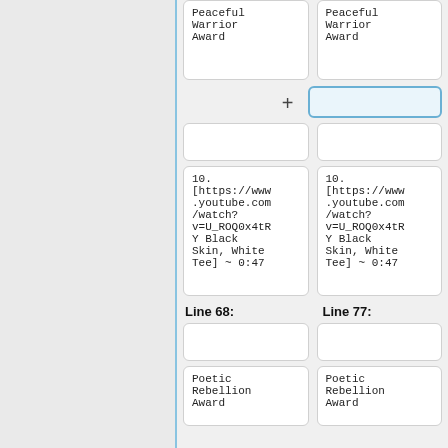Peaceful Warrior Award
Peaceful Warrior Award
+
10. [https://www.youtube.com/watch?v=U_ROQ0x4tRY Black Skin, White Tee]  ~ 0:47
10. [https://www.youtube.com/watch?v=U_ROQ0x4tRY Black Skin, White Tee]  ~ 0:47
Line 68:
Line 77:
Poetic Rebellion Award
Poetic Rebellion Award